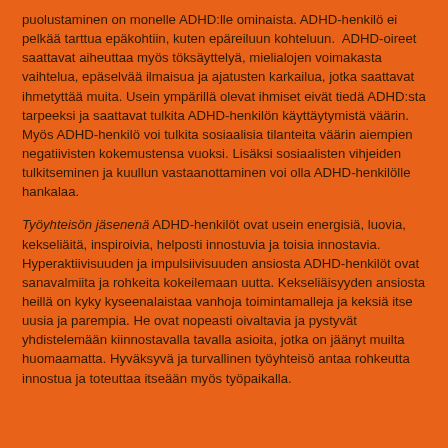puolustaminen on monelle ADHD:lle ominaista. ADHD-henkilö ei pelkää tarttua epäkohtiin, kuten epäreiluun kohteluun.  ADHD-oireet saattavat aiheuttaa myös töksäyttelyä, mielialojen voimakasta vaihtelua, epäselvää ilmaisua ja ajatusten karkailua, jotka saattavat ihmetyttää muita. Usein ympärillä olevat ihmiset eivät tiedä ADHD:sta tarpeeksi ja saattavat tulkita ADHD-henkilön käyttäytymistä väärin. Myös ADHD-henkilö voi tulkita sosiaalisia tilanteita väärin aiempien negatiivisten kokemustensa vuoksi. Lisäksi sosiaalisten vihjeiden tulkitseminen ja kuullun vastaanottaminen voi olla ADHD-henkilölle hankalaa.
Työyhteisön jäsenenä ADHD-henkilöt ovat usein energisiä, luovia, kekseliäitä, inspiroivia, helposti innostuvia ja toisia innostavia. Hyperaktiivisuuden ja impulsiivisuuden ansiosta ADHD-henkilöt ovat sanavalmiita ja rohkeita kokeilemaan uutta. Kekseliäisyyden ansiosta heillä on kyky kyseenalaistaa vanhoja toimintamalleja ja keksiä itse uusia ja parempia. He ovat nopeasti oivaltavia ja pystyvät yhdistelemään kiinnostavalla tavalla asioita, jotka on jäänyt muilta huomaamatta. Hyväksyvä ja turvallinen työyhteisö antaa rohkeutta innostua ja toteuttaa itseään myös työpaikalla.